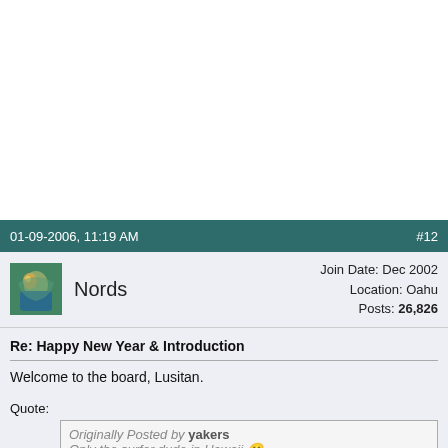01-09-2006, 11:19 AM   #12
Nords   Join Date: Dec 2002   Location: Oahu   Posts: 26,826
Re: Happy New Year & Introduction
Welcome to the board, Lusitan.
Quote:
Originally Posted by yakers
Only the surfer dude in Hawaii